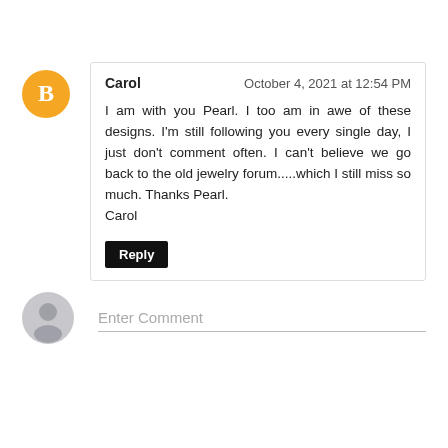[Figure (illustration): Blogger avatar: orange circle with white letter B inside]
Carol
October 4, 2021 at 12:54 PM
I am with you Pearl. I too am in awe of these designs. I'm still following you every single day, I just don't comment often. I can't believe we go back to the old jewelry forum.....which I still miss so much. Thanks Pearl.
Carol
Reply
[Figure (illustration): Guest user avatar: grey circle with generic person silhouette]
Enter Comment